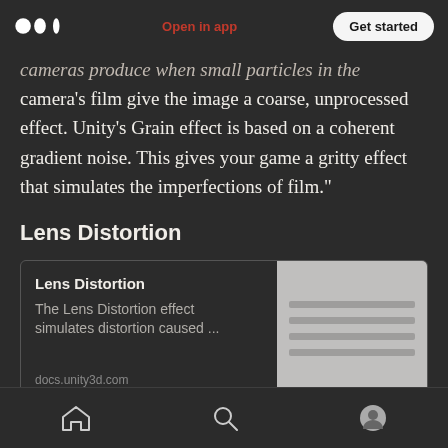Open in app | Get started
cameras produce when small particles in the camera’s film give the image a coarse, unprocessed effect. Unity’s Grain effect is based on a coherent gradient noise. This gives your game a gritty effect that simulates the imperfections of film.”
Lens Distortion
[Figure (screenshot): Link preview card for Lens Distortion Unity docs page. Shows title 'Lens Distortion', description 'The Lens Distortion effect simulates distortion caused ...', URL 'docs.unity3d.com', and a grey placeholder image on the right.]
Home | Search | Profile